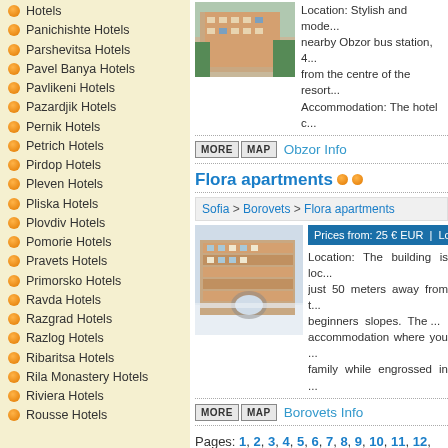Hotels
Panichishte Hotels
Parshevitsa Hotels
Pavel Banya Hotels
Pavlikeni Hotels
Pazardjik Hotels
Pernik Hotels
Petrich Hotels
Pirdop Hotels
Pleven Hotels
Pliska Hotels
Plovdiv Hotels
Pomorie Hotels
Pravets Hotels
Primorsko Hotels
Ravda Hotels
Razgrad Hotels
Razlog Hotels
Ribaritsa Hotels
Rila Monastery Hotels
Riviera Hotels
Rousse Hotels
Location: Stylish and mode... nearby Obzor bus station, 4... from the centre of the resort... Accommodation: The hotel c...
MORE MAP  Obzor Info
Flora apartments
Sofia > Borovets > Flora apartments
Prices from: 25 € EUR | Loc...
Location: The building is loc... just 50 meters away from t... beginners slopes. The ... accommodation where you ... family while engrossed in ...
MORE MAP  Borovets Info
Pages: 1, 2, 3, 4, 5, 6, 7, 8, 9, 10, 11, 12, 13, 14... 25, 26, 27, 28, 29, 30, 31, 32, 33, 34, 35, 36, 37... 48, 49, 50, 51, 52, 53, 54, 55, 56, 57, 58, 59, 60,...